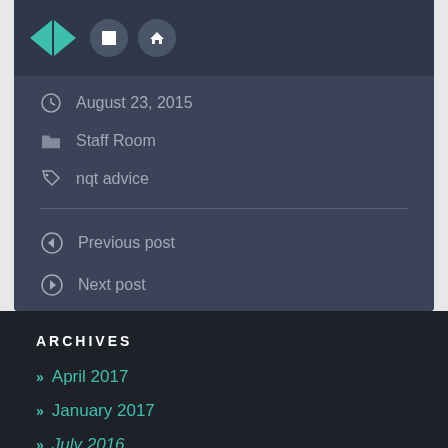[Figure (screenshot): Navigation arrows and icon buttons in dark teal/navy header bar]
August 23, 2015
Staff Room
nqt advice
Previous post
Next post
ARCHIVES
April 2017
January 2017
July 2016